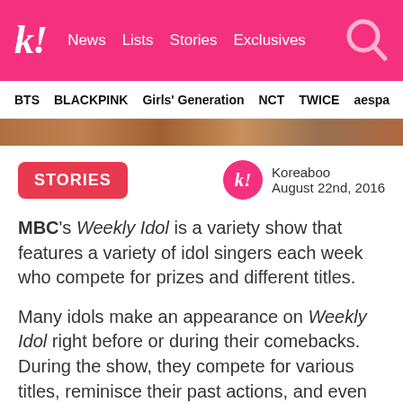k! News Lists Stories Exclusives
BTS BLACKPINK Girls' Generation NCT TWICE aespa
[Figure (photo): Hero image strip showing a group photo, partially visible]
STORIES
Koreaboo August 22nd, 2016
MBC's Weekly Idol is a variety show that features a variety of idol singers each week who compete for prizes and different titles.
Many idols make an appearance on Weekly Idol right before or during their comebacks. During the show, they compete for various titles, reminisce their past actions, and even compete for prizes such as meat and items paid for by their follow group members. By participating in